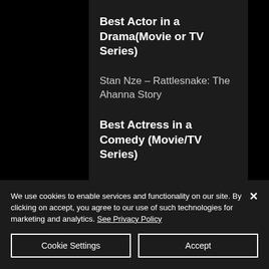Best Actor in a Drama(Movie or TV Series)
Stan Nze – Rattlesnake: The Ahanna Story
Best Actress in a Comedy (Movie/TV Series)
Funke Akindele-Bello – Omo Ghetto the Saga
We use cookies to enable services and functionality on our site. By clicking on accept, you agree to our use of such technologies for marketing and analytics. See Privacy Policy
Cookie Settings
Accept